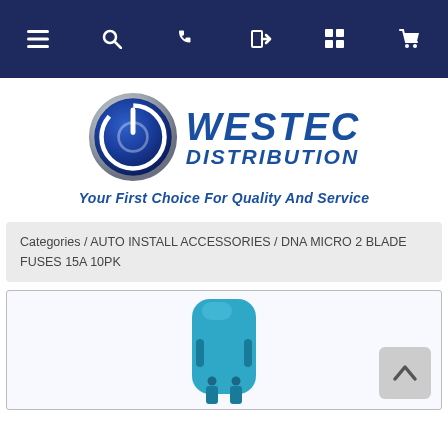Navigation bar with menu, search, phone, login, grid, and cart icons
[Figure (logo): Westec Distribution logo: circular power button icon with metallic silver and blue gradient ring, beside bold italic blue text reading WESTEC DISTRIBUTION]
Your First Choice For Quality And Service
Categories / AUTO INSTALL ACCESSORIES / DNA MICRO 2 BLADE FUSES 15A 10PK
[Figure (photo): Product photo of a blue micro 2 blade fuse, shown from the front against a light background inside a bordered product image box]